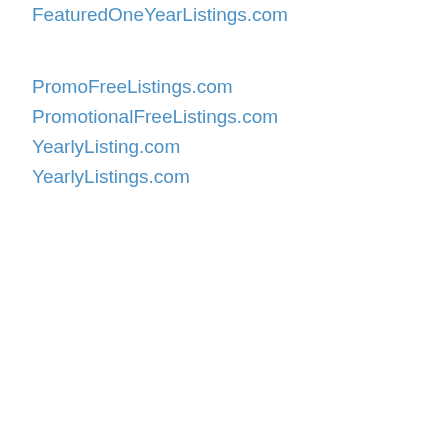FeaturedOneYearListings.com
PromoFreeListings.com
PromotionalFreeListings.com
YearlyListing.com
YearlyListings.com